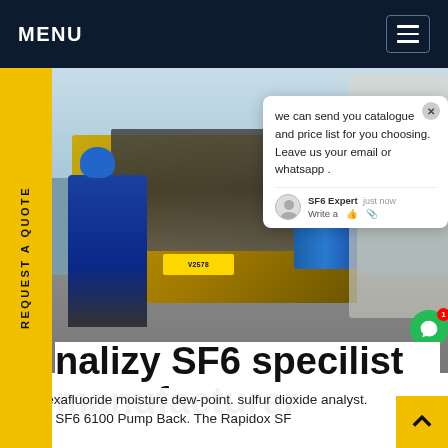MENU
[Figure (photo): Photograph of a worker in a blue hard hat and coveralls loading or handling heavy cables/hoses on the back of a yellow flatbed truck at an industrial or power station facility. Barrels and equipment are visible on the truck. Industrial infrastructure visible in background.]
we can send you catalogue and price list for you choosing. Leave us your email or whatsapp .
SF6 Expert    just now
Write a
nalizy SF6 specilist manufacturer
sulfur hexafluoride moisture dew-point. sulfur dioxide analyst. Rapidox SF6 6100 Pump Back. The Rapidox SF